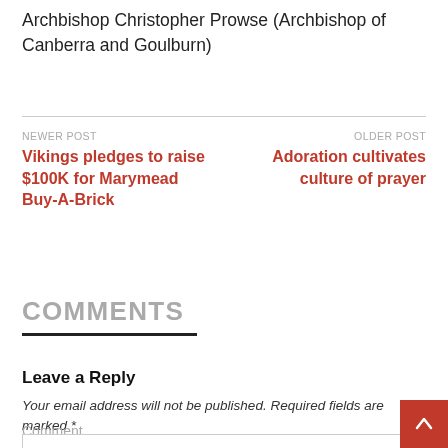Archbishop Christopher Prowse (Archbishop of Canberra and Goulburn)
NEWER POST
Vikings pledges to raise $100K for Marymead Buy-A-Brick
OLDER POST
Adoration cultivates culture of prayer
COMMENTS
Leave a Reply
Your email address will not be published. Required fields are marked *
Comment